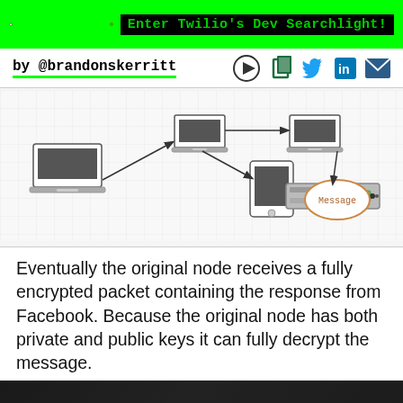Enter Twilio's Dev Searchlight!
by @brandonskerritt
[Figure (flowchart): Network diagram showing laptop nodes connected by arrows to represent encrypted packet routing, with a server/rack device on the right and a 'Message' oval in the center-right area.]
Eventually the original node receives a fully encrypted packet containing the response from Facebook. Because the original node has both private and public keys it can fully decrypt the message.
[Figure (photo): Dark background image with green glowing light spots, appears to be a blurred photo of a dimly lit scene with green LED or laser light.]